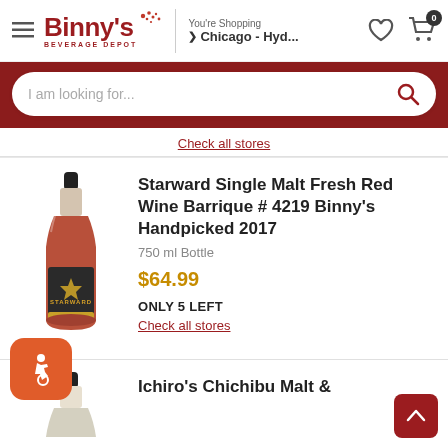[Figure (screenshot): Binny's Beverage Depot website header with logo, You're Shopping / Chicago - Hyd... location, heart and cart icons]
[Figure (screenshot): Dark red search bar area with white rounded search input reading 'I am looking for...' and red search icon]
Check all stores
[Figure (photo): Bottle of Starward Single Malt whisky with red/amber liquid and dark label]
Starward Single Malt Fresh Red Wine Barrique # 4219 Binny's Handpicked 2017
750 ml Bottle
$64.99
ONLY 5 LEFT
Check all stores
[Figure (photo): Partial view of second whisky bottle (Ichiro's Chichibu), dark cap visible]
Ichiro's Chichibu Malt &